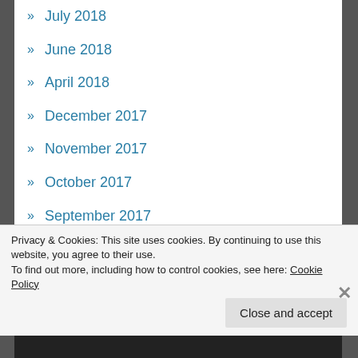» July 2018
» June 2018
» April 2018
» December 2017
» November 2017
» October 2017
» September 2017
» August 2017
» July 2017
» June 2017
» April 2017
Privacy & Cookies: This site uses cookies. By continuing to use this website, you agree to their use.
To find out more, including how to control cookies, see here: Cookie Policy
Close and accept